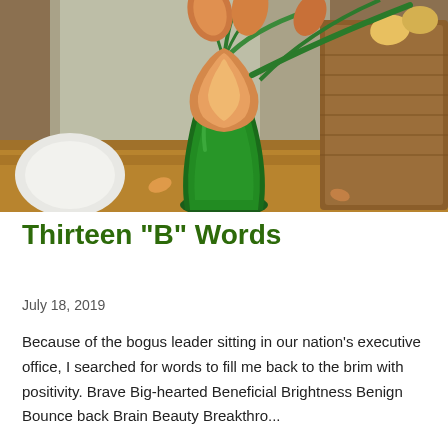[Figure (photo): Photograph of a dark green glass vase holding orange and yellow tulips, sitting on a wooden surface with a white plate and wicker basket visible in the background.]
Thirteen "B" Words
July 18, 2019
Because of the bogus leader sitting in our nation's executive office, I searched for words to fill me back to the brim with positivity. Brave Big-hearted Beneficial Brightness Benign Bounce back Brain Beauty Breakthrо...